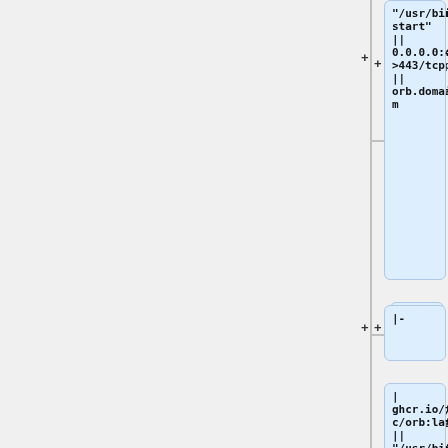[Figure (flowchart): Partial view of a flowchart/diagram showing Docker container run commands with code blocks. Visible nodes contain commands referencing ghcr.io/trustbloc/orb:latest with /usr/bin/orb start and port mappings (0.0.0.0:48426->443/tcp to orb.domain2.com, 0.0.0.0:48326->443/tcp to orb.domain1.com), connected by '+' and '|-' nodes.]